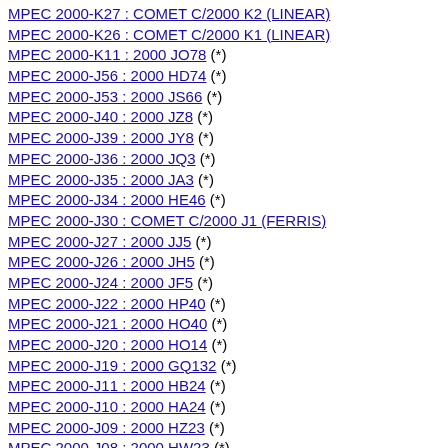MPEC 2000-K27 : COMET C/2000 K2 (LINEAR)
MPEC 2000-K26 : COMET C/2000 K1 (LINEAR)
MPEC 2000-K11 : 2000 JO78 (*)
MPEC 2000-J56 : 2000 HD74 (*)
MPEC 2000-J53 : 2000 JS66 (*)
MPEC 2000-J40 : 2000 JZ8 (*)
MPEC 2000-J39 : 2000 JY8 (*)
MPEC 2000-J36 : 2000 JQ3 (*)
MPEC 2000-J35 : 2000 JA3 (*)
MPEC 2000-J34 : 2000 HE46 (*)
MPEC 2000-J30 : COMET C/2000 J1 (FERRIS)
MPEC 2000-J27 : 2000 JJ5 (*)
MPEC 2000-J26 : 2000 JH5 (*)
MPEC 2000-J24 : 2000 JF5 (*)
MPEC 2000-J22 : 2000 HP40 (*)
MPEC 2000-J21 : 2000 HO40 (*)
MPEC 2000-J20 : 2000 HO14 (*)
MPEC 2000-J19 : 2000 GQ132 (*)
MPEC 2000-J11 : 2000 HB24 (*)
MPEC 2000-J10 : 2000 HA24 (*)
MPEC 2000-J09 : 2000 HZ23 (*)
MPEC 2000-J08 : 2000 HW23 (*)
MPEC 2000-J02 : COMET C/2000 G2 (LINEAR)
MPEC 2000-H38 : 2000 GV147 (*)
MPEC 2000-H29 : 2000 GJ147 (*)